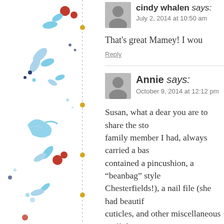[Figure (illustration): Decorative left border with blue floral and botanical watercolor design, red berries, dots, a vertical dotted line with gold/orange dots at intervals on a white background]
cindy whalen says:
July 2, 2014 at 10:50 am
That's great Mamey! I wou
Reply
Annie says:
October 9, 2014 at 12:12 pm
Susan, what a dear you are to share the sto family member I had, always carried a bas contained a pincushion, a “beanbag” style Chesterfields!), a nail file (she had beautif cuticles, and other miscellaneous stuff she was an invalid, having been run over at the the streets of Chicago, which broke her ba job. She supported herself and two daught cane. She lived with us her whole life, and